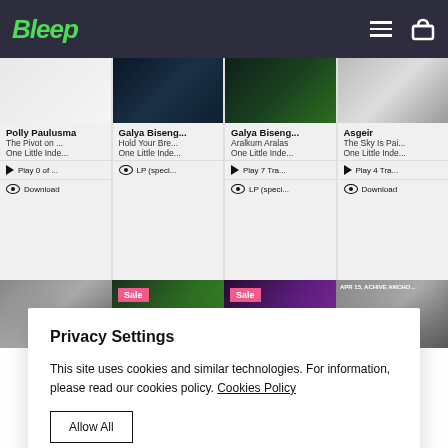Bleep
[Figure (screenshot): Music cards grid showing Polly Paulusma - The Pivot on... One Little Inde..., Galya Biseng... - Hold Your Bre... One Little Inde..., Galya Biseng... - Aralkum Aralas One Little Inde..., Asgeir - The Sky Is Pai... One Little Inde...]
[Figure (screenshot): Second row of album art images with Sale badges on second and third items]
Privacy Settings

This site uses cookies and similar technologies. For information, please read our cookies policy. Cookies Policy

Allow All

Manage Consent Preferences